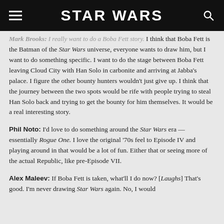STAR WARS
Mark Brooks: I really want to do a Boba Fett story. I think that Boba Fett is the Batman of the Star Wars universe, everyone wants to draw him, but I want to do something specific. I want to do the stage between Boba Fett leaving Cloud City with Han Solo in carbonite and arriving at Jabba's palace. I figure the other bounty hunters wouldn't just give up. I think that the journey between the two spots would be rife with people trying to steal Han Solo back and trying to get the bounty for him themselves. It would be a real interesting story.
Phil Noto: I'd love to do something around the Star Wars era — essentially Rogue One. I love the original '70s feel to Episode IV and playing around in that would be a lot of fun. Either that or seeing more of the actual Republic, like pre-Episode VII.
Alex Maleev: If Boba Fett is taken, what'll I do now? [Laughs] That's good. I'm never drawing Star Wars again. No, I would